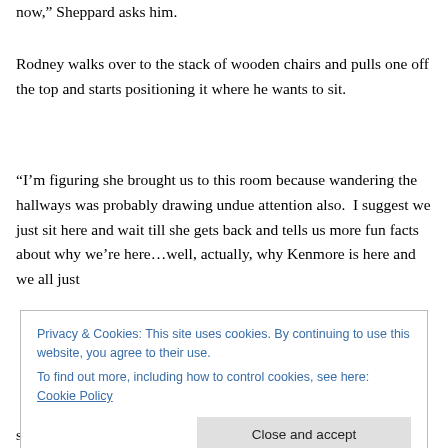now,” Sheppard asks him.
Rodney walks over to the stack of wooden chairs and pulls one off the top and starts positioning it where he wants to sit.
“I’m figuring she brought us to this room because wandering the hallways was probably drawing undue attention also.  I suggest we just sit here and wait till she gets back and tells us more fun facts about why we’re here…well, actually, why Kenmore is here and we all just
Privacy & Cookies: This site uses cookies. By continuing to use this website, you agree to their use.
To find out more, including how to control cookies, see here: Cookie Policy
sitting here and doing nothing about their situation, looks